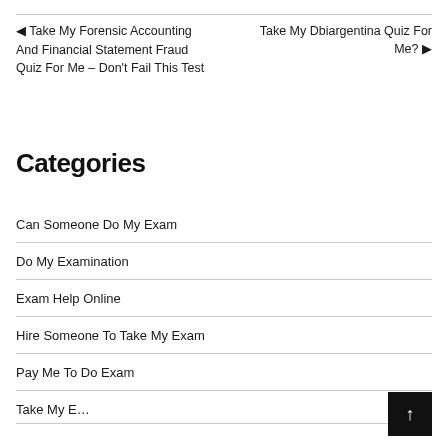◀ Take My Forensic Accounting And Financial Statement Fraud Quiz For Me – Don't Fail This Test
Take My Dbiargentina Quiz For Me? ▶
Categories
Can Someone Do My Exam
Do My Examination
Exam Help Online
Hire Someone To Take My Exam
Pay Me To Do Exam
Take My E…